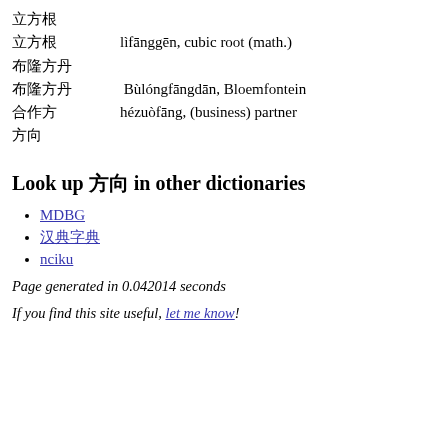立方根
立方根    lìfānggēn, cubic root (math.)
布隆方丹
布隆方丹    Bùlóngfāngdān, Bloemfontein
合作方    hézuòfāng, (business) partner
方向
Look up 方 in other dictionaries
MDBG
汉典
nciku
Page generated in 0.042014 seconds
If you find this site useful, let me know!